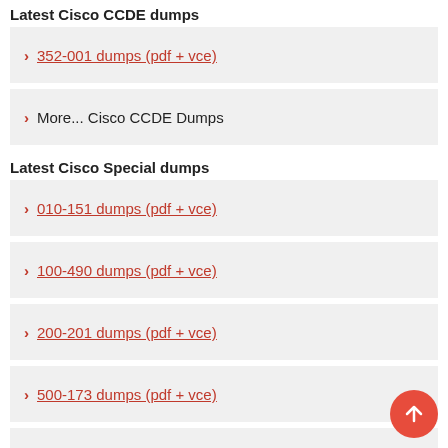Latest Cisco CCDE dumps
352-001 dumps (pdf + vce)
More... Cisco CCDE Dumps
Latest Cisco Special dumps
010-151 dumps (pdf + vce)
100-490 dumps (pdf + vce)
200-201 dumps (pdf + vce)
500-173 dumps (pdf + vce)
500-052 dumps (pdf + vce)